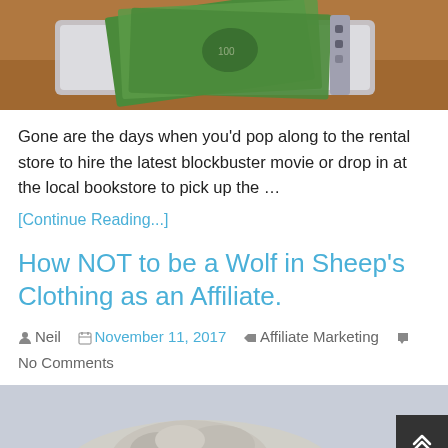[Figure (photo): Photo of dollar bills on a laptop on a wooden table, partially cropped at top]
Gone are the days when you'd pop along to the rental store to hire the latest blockbuster movie or drop in at the local bookstore to pick up the ...
[Continue Reading...]
How NOT to be a Wolf in Sheep's Clothing as an Affiliate.
Neil   November 11, 2017   Affiliate Marketing   No Comments
[Figure (photo): Photo of a wolf partially visible at the bottom of the page, cropped]